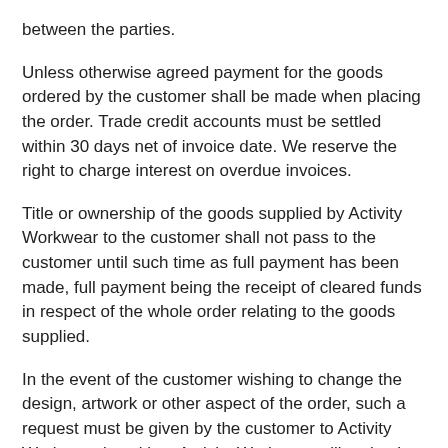between the parties.
Unless otherwise agreed payment for the goods ordered by the customer shall be made when placing the order. Trade credit accounts must be settled within 30 days net of invoice date. We reserve the right to charge interest on overdue invoices.
Title or ownership of the goods supplied by Activity Workwear to the customer shall not pass to the customer until such time as full payment has been made, full payment being the receipt of cleared funds in respect of the whole order relating to the goods supplied.
In the event of the customer wishing to change the design, artwork or other aspect of the order, such a request must be given by the customer to Activity Workwear in writing. Activity Workwear will make the changes in accordance with such a request only if production of the original order has not begun. However, we reserve the right to charge the customer any additional costs the changes may cause and will notify the customer of any extra costs of the changes at the time of the request. Activity Workwear also reserves the right to amend the initial delivery time frame should any changes to an order be required. Orders requiring new artwork will not be started until